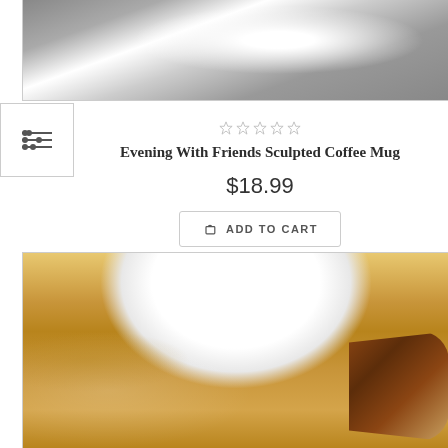[Figure (photo): Top portion of a sculpted coffee mug with a winter scene (dark snowy trees) on a grey/white background, partially cropped]
[Figure (other): Filter/sort icon — three horizontal lines with small circle sliders]
[Figure (other): Five empty star rating icons (grey outlines)]
Evening With Friends Sculpted Coffee Mug
$18.99
ADD TO CART
[Figure (photo): Close-up of a sculpted coffee mug with gold metallic body and a brown tree-branch handle; interior is white; partially cropped at bottom]